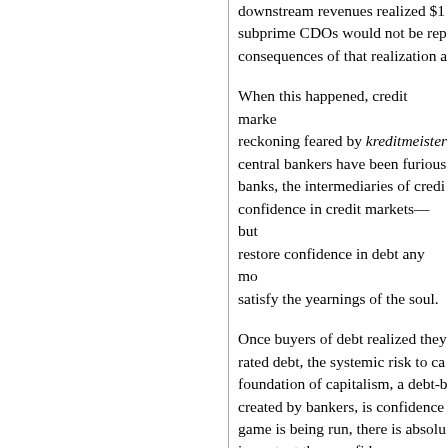downstream revenues realized $1 subprime CDOs would not be rep consequences of that realization a
When this happened, credit marke reckoning feared by kreditmeister central bankers have been furious banks, the intermediaries of credi confidence in credit markets—but restore confidence in debt any mo satisfy the yearnings of the soul.
Once buyers of debt realized they rated debt, the systemic risk to ca foundation of capitalism, a debt-b created by bankers, is confidence game is being run, there is absolu important than confidence.
When modern banking substituted paper money for gold and silver, e was affected. Paper money with n method of leverage, capitalism, a trust and confidence; and in Augu was shaken. Whether or not the c remains to be seen.